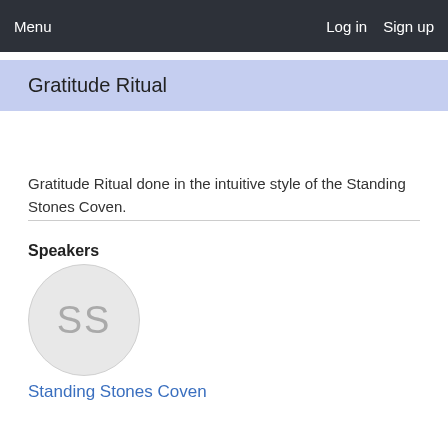Menu   Log in   Sign up
Gratitude Ritual
Gratitude Ritual done in the intuitive style of the Standing Stones Coven.
Speakers
[Figure (illustration): Avatar circle with initials SS]
Standing Stones Coven